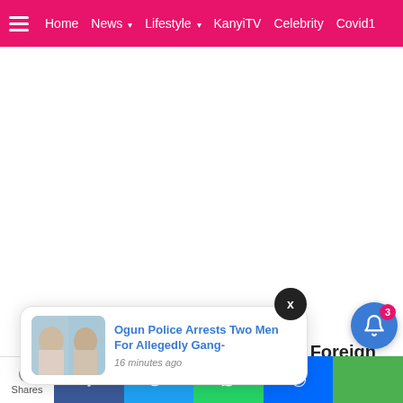Home | News | Lifestyle | KanyiTV | Celebrity | Covid1
[Figure (screenshot): White blank content area - advertisement space]
[Figure (screenshot): X close button - dark circular button with X]
[Figure (screenshot): Notification card showing article: Ogun Police Arrests Two Men For Allegedly Gang- with thumbnail image and time 16 minutes ago]
Foreign
Shares
[Figure (screenshot): Share bar with Facebook, Twitter, WhatsApp, Messenger, and green buttons at the bottom, plus bell notification icon with badge 3]